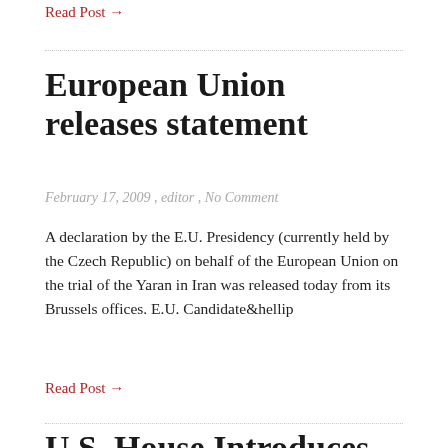Read Post →
European Union releases statement
February 17, 2009 , editor , No Comment
A declaration by the E.U. Presidency (currently held by the Czech Republic) on behalf of the European Union on the trial of the Yaran in Iran was released today from its Brussels offices. E.U. Candidate&hellip
Read Post →
U.S. House Introduces Resolution on Baha'i